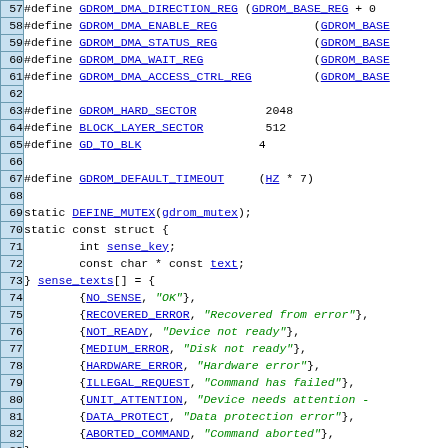Source code listing, lines 57-86, C kernel driver code for GDROM device
57: #define GDROM_DMA_DIRECTION_REG (GDROM_BASE_REG + 0
58: #define GDROM_DMA_ENABLE_REG (GDROM_BASE
59: #define GDROM_DMA_STATUS_REG (GDROM_BASE
60: #define GDROM_DMA_WAIT_REG (GDROM_BASE
61: #define GDROM_DMA_ACCESS_CTRL_REG (GDROM_BASE
62: (blank)
63: #define GDROM_HARD_SECTOR 2048
64: #define BLOCK_LAYER_SECTOR 512
65: #define GD_TO_BLK 4
66: (blank)
67: #define GDROM_DEFAULT_TIMEOUT (HZ * 7)
68: (blank)
69: static DEFINE_MUTEX(gdrom_mutex);
70: static const struct {
71:     int sense_key;
72:     const char * const text;
73: } sense_texts[] = {
74:     {NO_SENSE, "OK"},
75:     {RECOVERED_ERROR, "Recovered from error"},
76:     {NOT_READY, "Device not ready"},
77:     {MEDIUM_ERROR, "Disk not ready"},
78:     {HARDWARE_ERROR, "Hardware error"},
79:     {ILLEGAL_REQUEST, "Command has failed"},
80:     {UNIT_ATTENTION, "Device needs attention -
81:     {DATA_PROTECT, "Data protection error"},
82:     {ABORTED_COMMAND, "Command aborted"},
83: };
84: (blank)
85: static struct platform_device *pd;
86: static int gdrom_major;